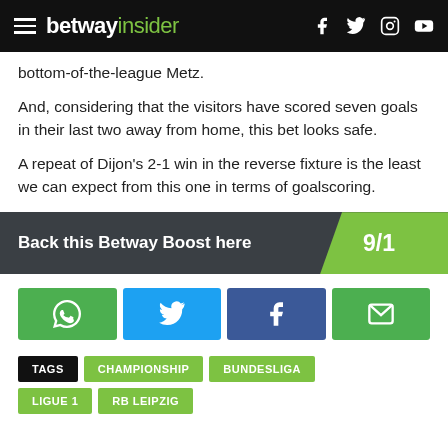betway insider
bottom-of-the-league Metz.
And, considering that the visitors have scored seven goals in their last two away from home, this bet looks safe.
A repeat of Dijon's 2-1 win in the reverse fixture is the least we can expect from this one in terms of goalscoring.
[Figure (infographic): Dark banner with text 'Back this Betway Boost here' on the left and '9/1' in a green angled section on the right]
[Figure (infographic): Row of four social share buttons: WhatsApp (green), Twitter (blue), Facebook (dark blue), Email (green)]
TAGS  CHAMPIONSHIP  BUNDESLIGA
LIGUE 1  RB LEIPZIG